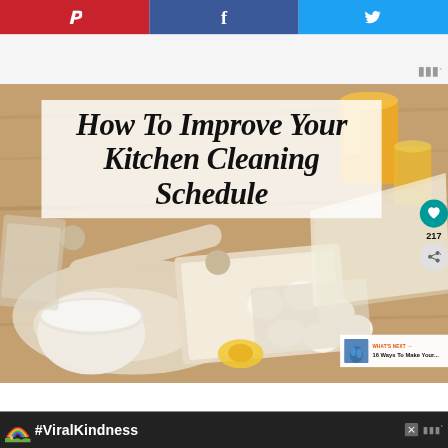[Figure (screenshot): Website screenshot showing a blog post page about kitchen cleaning. Top bar with Pinterest (red), Facebook (dark blue), and Twitter (light blue) share buttons. Below is an ad/logo strip. Main content shows a hero image of kitchen baking scene (flour, eggs, bowl on wooden surface) with overlaid title text 'How To Improve Your Kitchen Cleaning Schedule' on white semi-transparent background. Right side has a teal heart button with count 217 and a share button. A 'WHAT'S NEXT' panel shows a thumbnail and text '16 Ways To Make Your...'. Bottom has a dark ad bar with a rainbow illustration, '#ViralKindness' text, a close X button, and the site logo.]